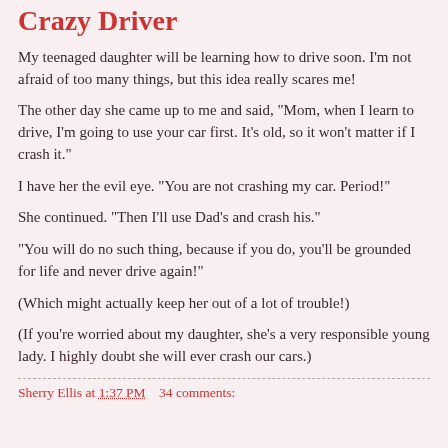Crazy Driver
My teenaged daughter will be learning how to drive soon. I'm not afraid of too many things, but this idea really scares me!
The other day she came up to me and said, "Mom, when I learn to drive, I'm going to use your car first. It's old, so it won't matter if I crash it."
I have her the evil eye. "You are not crashing my car. Period!"
She continued. "Then I'll use Dad's and crash his."
"You will do no such thing, because if you do, you'll be grounded for life and never drive again!"
(Which might actually keep her out of a lot of trouble!)
(If you're worried about my daughter, she's a very responsible young lady. I highly doubt she will ever crash our cars.)
Sherry Ellis at 1:37 PM    34 comments: